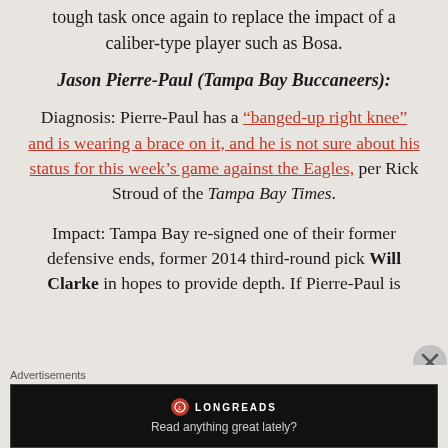tough task once again to replace the impact of a caliber-type player such as Bosa.
Jason Pierre-Paul (Tampa Bay Buccaneers):
Diagnosis: Pierre-Paul has a "banged-up right knee" and is wearing a brace on it, and he is not sure about his status for this week's game against the Eagles, per Rick Stroud of the Tampa Bay Times.
Impact: Tampa Bay re-signed one of their former defensive ends, former 2014 third-round pick Will Clarke in hopes to provide depth. If Pierre-Paul is
Advertisements
[Figure (other): Longreads advertisement banner with text 'Read anything great lately?']